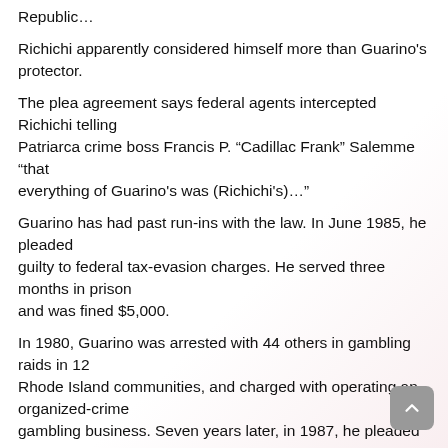Republic…
Richichi apparently considered himself more than Guarino's protector.
The plea agreement says federal agents intercepted Richichi telling Patriarca crime boss Francis P. “Cadillac Frank” Salemme “that everything of Guarino's was (Richichi's)…”
Guarino has had past run-ins with the law. In June 1985, he pleaded guilty to federal tax-evasion charges. He served three months in prison and was fined $5,000.
In 1980, Guarino was arrested with 44 others in gambling raids in 12 Rhode Island communities, and charged with operating an organized-crime gambling business. Seven years later, in 1987, he pleaded no